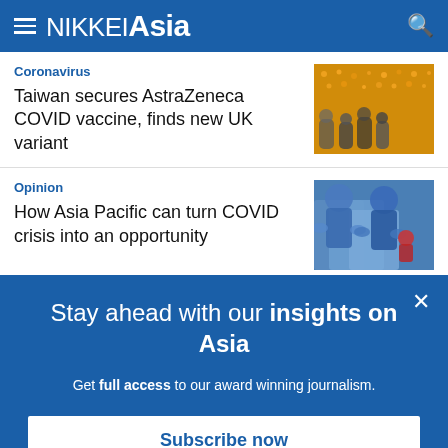NIKKEI Asia
Coronavirus
Taiwan secures AstraZeneca COVID vaccine, finds new UK variant
[Figure (photo): Crowd of people, warm orange/yellow lighting, likely at a public event or temple]
Opinion
How Asia Pacific can turn COVID crisis into an opportunity
[Figure (photo): Medical workers in blue protective gear/hazmat suits treating a patient]
Stay ahead with our insights on Asia
Get full access to our award winning journalism.
Subscribe now